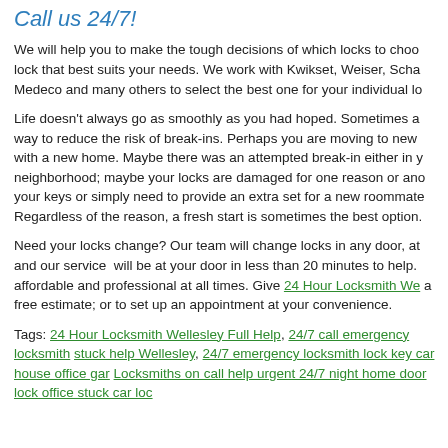Call us 24/7!
We will help you to make the tough decisions of which locks to choose, and to find the lock that best suits your needs. We work with Kwikset, Weiser, Schlage, Baldwin, Medeco and many others to select the best one for your individual lock needs.
Life doesn't always go as smoothly as you had hoped. Sometimes a lock change is the way to reduce the risk of break-ins. Perhaps you are moving to new home or dealing with a new home. Maybe there was an attempted break-in either in your home or in your neighborhood; maybe your locks are damaged for one reason or another; maybe you lost your keys or simply need to provide an extra set for a new roommate or family member. Regardless of the reason, a fresh start is sometimes the best option.
Need your locks change? Our team will change locks in any door, at any time of day, and our service will be at your door in less than 20 minutes to help. Our team is affordable and professional at all times. Give 24 Hour Locksmith Wellesley a call to get a free estimate; or to set up an appointment at your convenience.
Tags: 24 Hour Locksmith Wellesley Full Help, 24/7 call emergency locksmith stuck help Wellesley, 24/7 emergency locksmith lock key car house office garage, Locksmiths on call help urgent 24/7 night home door lock office stuck car lock